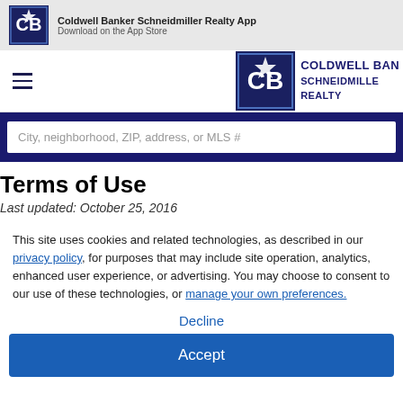[Figure (logo): Coldwell Banker logo small square with star, dark navy background]
Coldwell Banker Schneidmiller Realty App
Download on the App Store
[Figure (logo): Hamburger menu icon (three horizontal lines)]
[Figure (logo): Coldwell Banker CB logo large square navy]
COLDWELL BANKER SCHNEIDMILLER REALTY
City, neighborhood, ZIP, address, or MLS #
Terms of Use
Last updated: October 25, 2016
This site uses cookies and related technologies, as described in our privacy policy, for purposes that may include site operation, analytics, enhanced user experience, or advertising. You may choose to consent to our use of these technologies, or manage your own preferences.
Decline
Accept